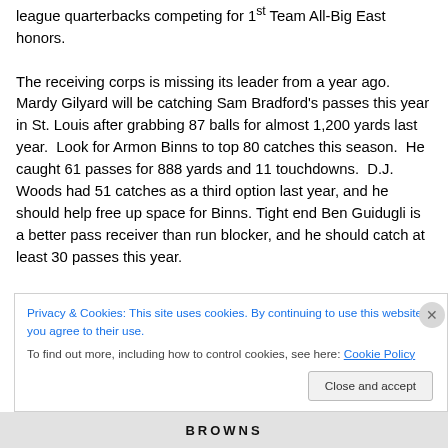league quarterbacks competing for 1st Team All-Big East honors.

The receiving corps is missing its leader from a year ago. Mardy Gilyard will be catching Sam Bradford's passes this year in St. Louis after grabbing 87 balls for almost 1,200 yards last year.  Look for Armon Binns to top 80 catches this season.  He caught 61 passes for 888 yards and 11 touchdowns.  D.J. Woods had 51 catches as a third option last year, and he should help free up space for Binns. Tight end Ben Guidugli is a better pass receiver than run blocker, and he should catch at least 30 passes this year.
Privacy & Cookies: This site uses cookies. By continuing to use this website, you agree to their use.
To find out more, including how to control cookies, see here: Cookie Policy
Close and accept